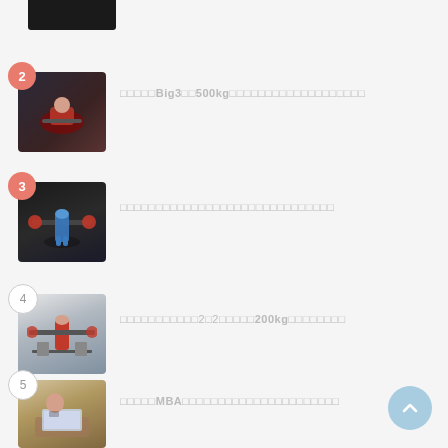[Figure (photo): Partial thumbnail of item 1 (cropped at top) — dark gym photo]
□□□□□Big3□□500kg□□□□□□□□□□□□□□□□□□□
[Figure (photo): Man benchpressing in a gym, dark background]
□□□□□□□□□□□□□□□□□□□□□□□□□□□□
[Figure (photo): Person doing barbell squat in blue shorts]
□□□□□□□□□□2□2□□□□□200kg□□□□□□□□
[Figure (photo): Powerlifter in red singlet in a gym]
□□□□□MBA□□□□□□□□□□□□□□□□□□□□□□
[Figure (photo): Person using laptop on sofa]